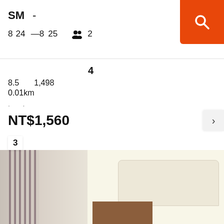SM - 8 24 — 8 25  👥 2
4
8.5  1,498
0.01km
NT$1,560
[Figure (photo): Hotel room interior showing curtains on left and light-colored furniture including sofa and desk]
3